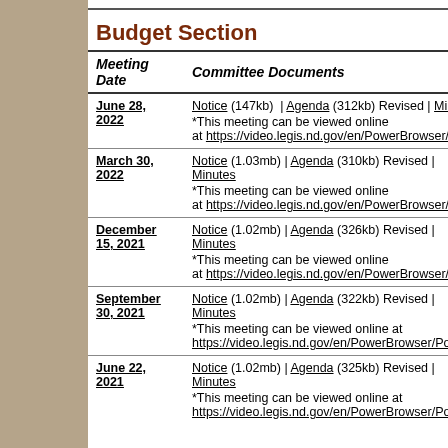Budget Section
| Meeting Date | Committee Documents |
| --- | --- |
| June 28, 2022 | Notice (147kb) | Agenda (312kb) Revised | Minutes
*This meeting can be viewed online at https://video.legis.nd.gov/en/PowerBrowser/Pow |
| March 30, 2022 | Notice (1.03mb) | Agenda (310kb) Revised | Minutes
*This meeting can be viewed online at https://video.legis.nd.gov/en/PowerBrowser/Pow |
| December 15, 2021 | Notice (1.02mb) | Agenda (326kb) Revised | Minutes
*This meeting can be viewed online at https://video.legis.nd.gov/en/PowerBrowser/Pow |
| September 30, 2021 | Notice (1.02mb) | Agenda (322kb) Revised | Minutes
*This meeting can be viewed online at https://video.legis.nd.gov/en/PowerBrowser/PowerB |
| June 22, 2021 | Notice (1.02mb) | Agenda (325kb) Revised | Minutes
*This meeting can be viewed online at https://video.legis.nd.gov/en/PowerBrowser/PowerB |